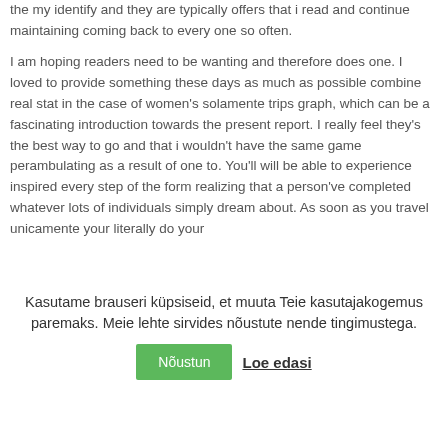the my identify and they are typically offers that i read and continue maintaining coming back to every one so often.
I am hoping readers need to be wanting and therefore does one. I loved to provide something these days as much as possible combine real stat in the case of women's solamente trips graph, which can be a fascinating introduction towards the present report. I really feel they's the best way to go and that i wouldn't have the same game perambulating as a result of one to. You'll will be able to experience inspired every step of the form realizing that a person've completed whatever lots of individuals simply dream about. As soon as you travel unicamente your literally do your
Kasutame brauseri küpsiseid, et muuta Teie kasutajakogemus paremaks. Meie lehte sirvides nõustute nende tingimustega.
Nõustun  Loe edasi